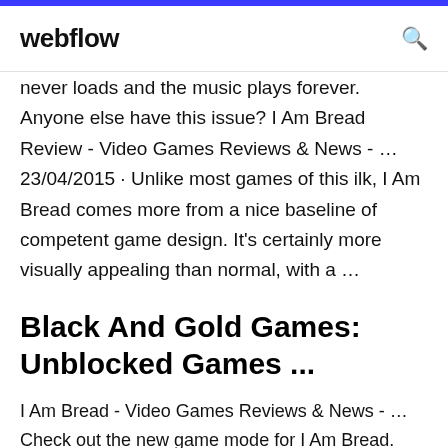webflow
never loads and the music plays forever. Anyone else have this issue? I Am Bread Review - Video Games Reviews & News - … 23/04/2015 · Unlike most games of this ilk, I Am Bread comes more from a nice baseline of competent game design. It's certainly more visually appealing than normal, with a …
Black And Gold Games: Unblocked Games ...
I Am Bread - Video Games Reviews & News - … Check out the new game mode for I Am Bread. Jan 14, 2015 6:31pm. Show me more Most